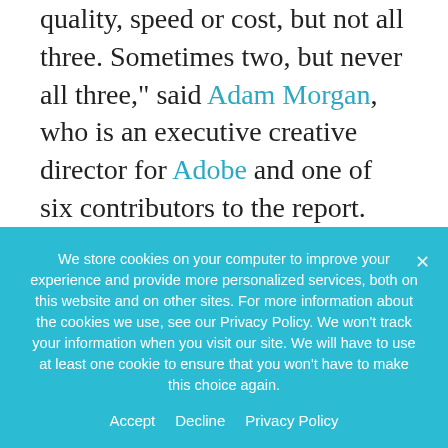quality, speed or cost, but not all three. Sometimes two, but never all three," said Adam Morgan, who is an executive creative director for Adobe and one of six contributors to the report. "So, we say the most important thing is quality creative, but then we measure on speed and efficiency."
3) Benchmarks for creative efficiency
The review and approval process for creative
We store cookies on your computer to improve your experience and provide more personalized services, both on this website and on other sites. For more information about the cookies we use, see our Privacy Policy. We won't track your information when you visit our site. We will have to use at least one cookie to ensure that you won't have to make this choice again.
Accept   Decline   Privacy Policy